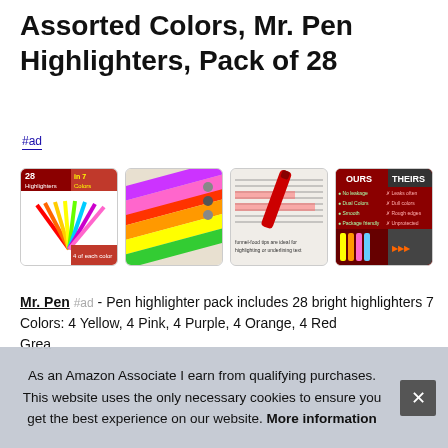Assorted Colors, Mr. Pen Highlighters, Pack of 28
#ad
[Figure (photo): Four product thumbnail images of Mr. Pen Highlighters: (1) fan of colorful highlighters with text '28 Highlighters in 7 Colors, 4 of each color'; (2) colorful highlighter pens close-up; (3) red highlighter on printed text; (4) comparison chart 'OURS vs THEIRS' with product images.]
Mr. Pen #ad - Pen highlighter pack includes 28 bright highlighters 7 Colors: 4 Yellow, 4 Pink, 4 Purple, 4 Orange, 4 Red... Grea...
As an Amazon Associate I earn from qualifying purchases. This website uses the only necessary cookies to ensure you get the best experience on our website. More information